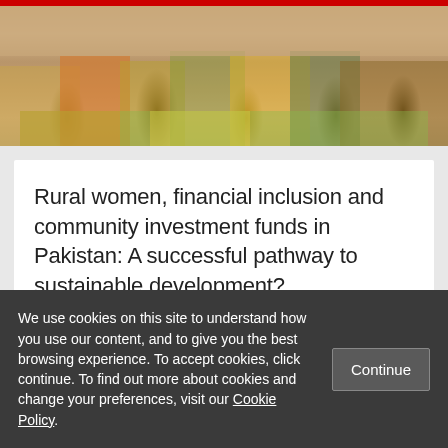[Figure (photo): Photograph of rural women sitting together, partially visible at top, wearing colorful traditional clothing]
Rural women, financial inclusion and community investment funds in Pakistan: A successful pathway to sustainable development?
OCTOBER 31ST, 2019
We use cookies on this site to understand how you use our content, and to give you the best browsing experience. To accept cookies, click continue. To find out more about cookies and change your preferences, visit our Cookie Policy.